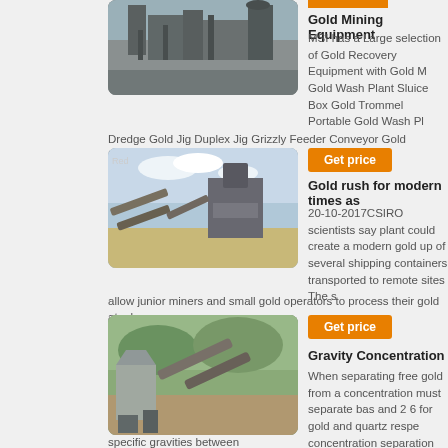[Figure (photo): Industrial gold mining plant with large equipment structures and silos]
Dredge Gold Jig Duplex Jig Grizzly Feeder Conveyor Gold Enhancer our we
[Figure (photo): Mining equipment on open ground with crusher and conveyor belts, labeled Red]
Get price
Gold Mining Equipment
MSI has a Large selection of Gold Recovery Equipment with Gold M Gold Wash Plant Sluice Box Gold Trommel Portable Gold Wash Pl
Get price
Gold rush for modern times as
20-10-2017CSIRO scientists say plant could create a modern gold up of several shipping containers transported to remote sites The s
allow junior miners and small gold operators to process their gold at a lower
[Figure (photo): Large gravity concentration mining equipment with conveyors and hoppers]
Get price
Gravity Concentration
When separating free gold from a concentration must separate bas and 2 6 for gold and quartz respe concentration separation process
specific gravities between